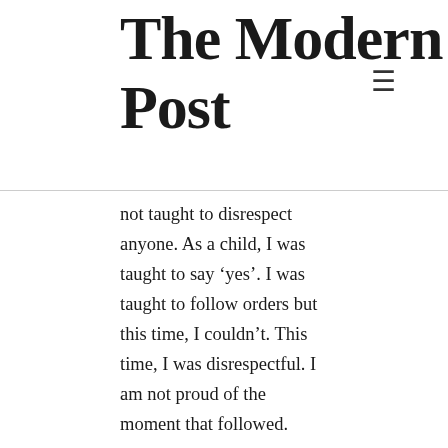The Modern Post
not taught to disrespect anyone. As a child, I was taught to say ‘yes’. I was taught to follow orders but this time, I couldn’t. This time, I was disrespectful. I am not proud of the moment that followed.
I said it clearly, “I have been applying for universities abroad and I want to study the subjects I like. I am sorry.” He knew I wanted to study and he was supportive of my education but he wasn’t expecting me to apply for universities abroad. He never wanted me to live a different life than what he had planned for me.